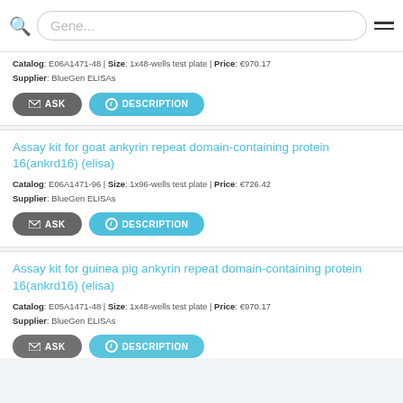Gene... [search bar]
Catalog: E06A1471-48 | Size: 1x48-wells test plate | Price: €970.17 Supplier: BlueGen ELISAs
ASK  DESCRIPTION
Assay kit for goat ankyrin repeat domain-containing protein 16(ankrd16) (elisa)
Catalog: E06A1471-96 | Size: 1x96-wells test plate | Price: €726.42 Supplier: BlueGen ELISAs
ASK  DESCRIPTION
Assay kit for guinea pig ankyrin repeat domain-containing protein 16(ankrd16) (elisa)
Catalog: E05A1471-48 | Size: 1x48-wells test plate | Price: €970.17 Supplier: BlueGen ELISAs
ASK  DESCRIPTION